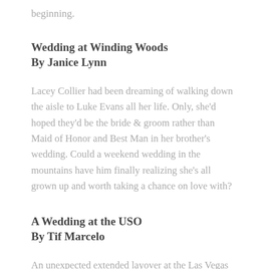beginning.
Wedding at Winding Woods
By Janice Lynn
Lacey Collier had been dreaming of walking down the aisle to Luke Evans all her life. Only, she'd hoped they'd be the bride & groom rather than Maid of Honor and Best Man in her brother's wedding. Could a weekend wedding in the mountains have him finally realizing she's all grown up and worth taking a chance on love with?
A Wedding at the USO
By Tif Marcelo
An unexpected extended layover at the Las Vegas